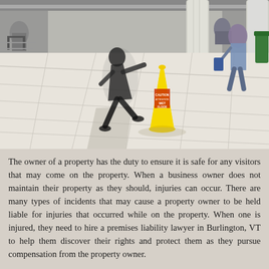[Figure (photo): Indoor public space (airport or mall) with tiled floor. A person is slipping/falling in the background. A yellow wet floor caution cone is visible in the center. Other people and pillars are visible in the background.]
The owner of a property has the duty to ensure it is safe for any visitors that may come on the property. When a business owner does not maintain their property as they should, injuries can occur. There are many types of incidents that may cause a property owner to be held liable for injuries that occurred while on the property. When one is injured, they need to hire a premises liability lawyer in Burlington, VT to help them discover their rights and protect them as they pursue compensation from the property owner.